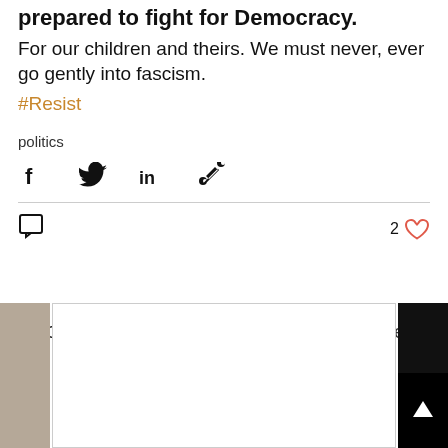prepared to fight for Democracy.
For our children and theirs. We must never, ever go gently into fascism. #Resist
politics
[Figure (infographic): Social share icons row: Facebook (f), Twitter (bird), LinkedIn (in), link/chain icon]
2 likes (heart icon), comment icon
Recent Posts
See All
[Figure (photo): Partial view of three post thumbnail images: left photo (sepia/brown tones), center white box with border, right dark/black image with arrow-up icon]